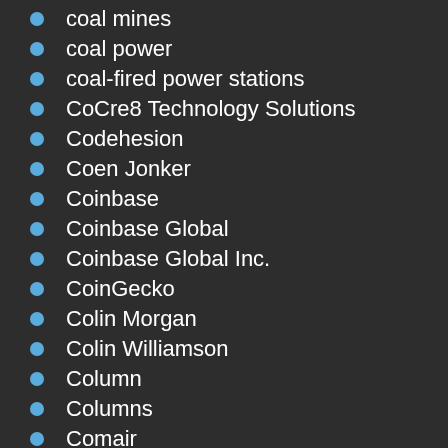coal mines
coal power
coal-fired power stations
CoCre8 Technology Solutions
Codehesion
Coen Jonker
Coinbase
Coinbase Global
Coinbase Global Inc.
CoinGecko
Colin Morgan
Colin Williamson
Column
Columns
Comair